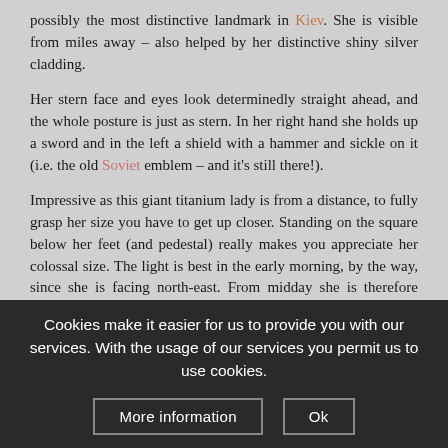possibly the most distinctive landmark in Kiev. She is visible from miles away – also helped by her distinctive shiny silver cladding.

Her stern face and eyes look determinedly straight ahead, and the whole posture is just as stern. In her right hand she holds up a sword and in the left a shield with a hammer and sickle on it (i.e. the old Soviet emblem – and it's still there!).

Impressive as this giant titanium lady is from a distance, to fully grasp her size you have to get up closer. Standing on the square below her feet (and pedestal) really makes you appreciate her colossal size. The light is best in the early morning, by the way, since she is facing north-east. From midday she is therefore backlit by the sun. The golden hour of (summer) sunset light makes her
Cookies make it easier for us to provide you with our services. With the usage of our services you permit us to use cookies.